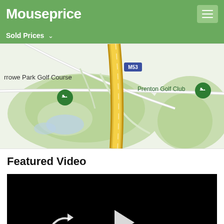Mouseprice
Sold Prices
[Figure (map): Google Maps showing Arrowe Park Golf Course, M53 motorway, and Prenton Golf Club area with green map pins for golf courses]
Featured Video
[Figure (screenshot): Video player showing black screen with replay-10 icon and play button controls, duration 02:24]